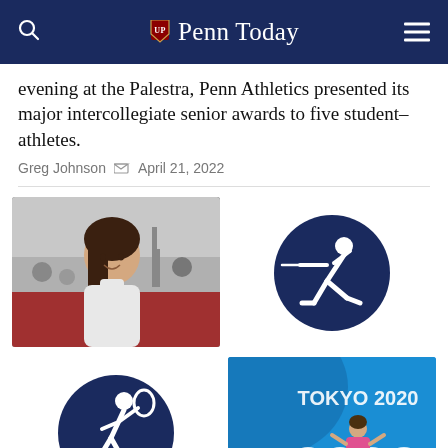Penn Today
evening at the Palestra, Penn Athletics presented its major intercollegiate senior awards to five student-athletes.
Greg Johnson  April 21, 2022
[Figure (photo): Young female fencer in white fencing jacket smiling at a competition venue]
[Figure (illustration): White silhouette of a fencer on dark navy blue circle background - sports icon]
[Figure (illustration): White silhouette of a squash player on dark navy blue circle background - sports icon]
[Figure (photo): Athlete posing at Tokyo 2020 Olympics venue with Olympic rings visible on blue court]